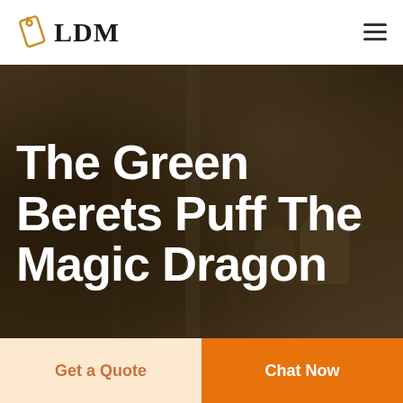[Figure (logo): LDM logo with a golden tag/label icon to the left of bold serif text 'LDM']
The Green Berets Puff The Magic Dragon
[Figure (photo): Dark blurred photo background of an industrial or warehouse interior with columns, serving as hero image backdrop]
Get a Quote
Chat Now